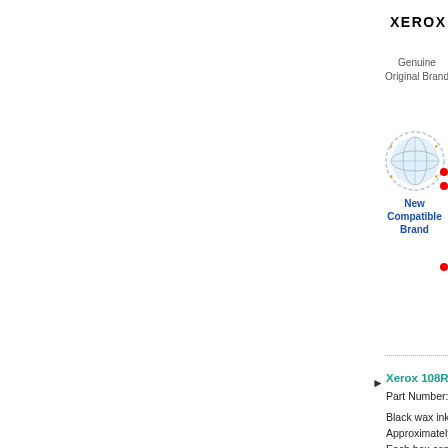XEROX
Genuine
Original Brand
[Figure (illustration): Globe/world seal badge with light blue color]
New Compatible
Brand
Xerox 108R00930
Part Number: 108R0...
Black wax ink colo...
Approximately 8,6...
Each box contains...
Compatible with th...
8570DN, Xerox Ca...
8580, Xerox Colo...
8580N, Xerox Pha...
Phaser 8580DT, X...
XEROX
Genuine
Original Brand
[Figure (illustration): Globe/world seal badge with light blue color, second instance]